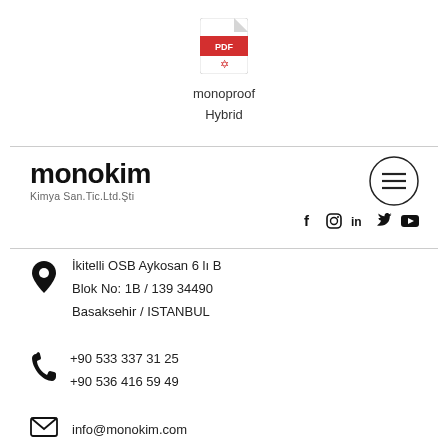[Figure (logo): PDF file icon with red Acrobat logo]
monoproof
Hybrid
[Figure (logo): monokim Kimya San.Tic.Ltd.Şti logo with social media icons (Facebook, Instagram, LinkedIn, Twitter, YouTube) and hamburger menu circle]
İkitelli OSB Aykosan 6 lı B Blok No: 1B / 139 34490 Basaksehir / ISTANBUL
+90 533 337 31 25
+90 536 416 59 49
info@monokim.com